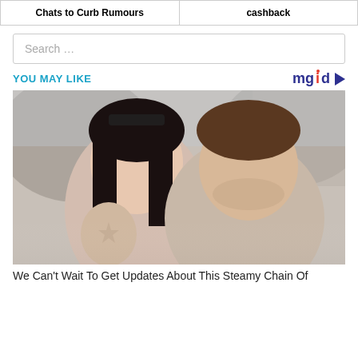| Chats to Curb Rumours | cashback |
Search …
YOU MAY LIKE
[Figure (photo): A couple taking a selfie outdoors near a coastal cliff area. A woman with dark hair and sunglasses on her head leans against a man with short brown hair. Both are smiling at the camera.]
We Can't Wait To Get Updates About This Steamy Chain Of